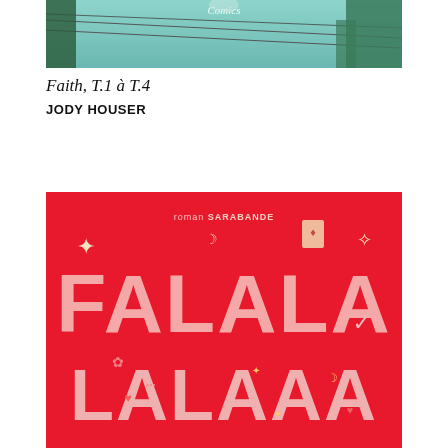[Figure (illustration): Comic book cover showing a teal/mint sky background with cable car wires, partial figure at top, text 'Comics' visible at top center]
Faith, T.1 à T.4
JODY HOUSER
[Figure (illustration): Red book cover with large pink letters spelling 'FALALA LALAAA' with festive decorations including stars, moons, hearts, snowflakes, and a sprig of holly. Text 'roman SARABANDE' at top center.]